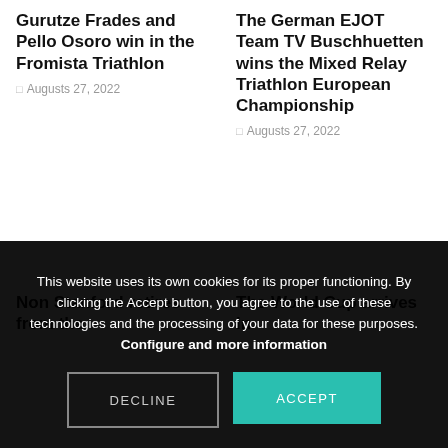Gurutze Frades and Pello Osoro win in the Fromista Triathlon
Augusts 27, 2022
The German EJOT Team TV Buschhuetten wins the Mixed Relay Triathlon European Championship
Augusts 27, 2022
Non Stanford retires from the triathlon…
The World Cup arrives in triathlon…
This website uses its own cookies for its proper functioning. By clicking the Accept button, you agree to the use of these technologies and the processing of your data for these purposes. Configure and more information
DECLINE
ACCEPT